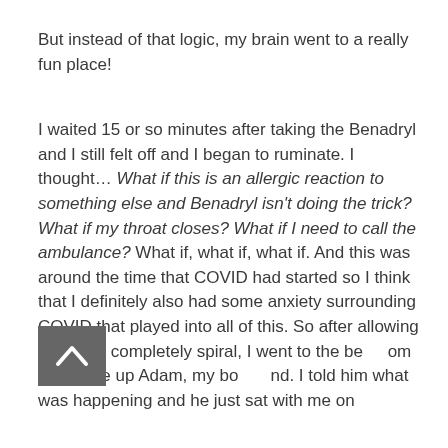But instead of that logic, my brain went to a really fun place!
I waited 15 or so minutes after taking the Benadryl and I still felt off and I began to ruminate. I thought… What if this is an allergic reaction to something else and Benadryl isn't doing the trick? What if my throat closes? What if I need to call the ambulance? What if, what if, what if. And this was around the time that COVID had started so I think that I definitely also had some anxiety surrounding COVID that played into all of this. So after allowing myself to completely spiral, I went to the bedroom and woke up Adam, my boyfriend. I told him what was happening and he just sat with me on